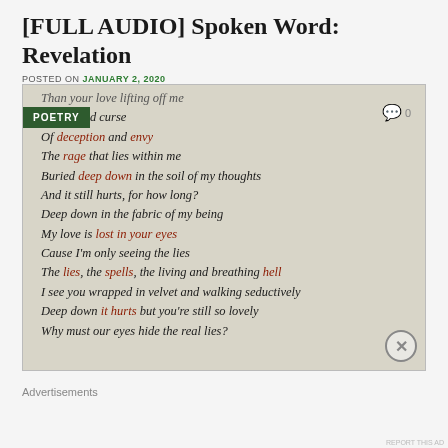[FULL AUDIO] Spoken Word: Revelation
POSTED ON JANUARY 2, 2020
[Figure (photo): Image of a handwritten poem on textured paper with some words highlighted in red/dark red. Text reads: Than your love lifting off me / he plagued curse / Of deception and envy / The rage that lies within me / Buried deep down in the soil of my thoughts / And it still hurts, for how long? / Deep down in the fabric of my being / My love is lost in your eyes / Cause I'm only seeing the lies / The lies, the spells, the living and breathing hell / I see you wrapped in velvet and walking seductively / Deep down it hurts but you're still so lovely / Why must our eyes hide the real lies? A green POETRY badge is in the top-left corner and a comment count of 0 in the top right.]
Advertisements